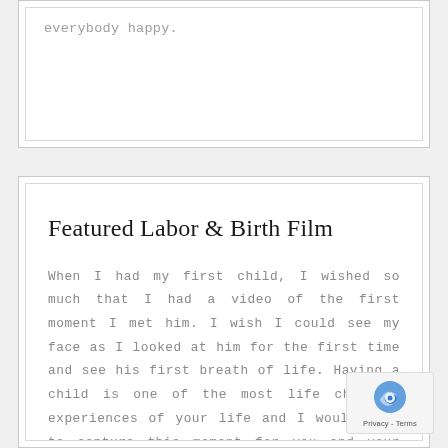everybody happy.
Featured Labor & Birth Film
When I had my first child, I wished so much that I had a video of the first moment I met him. I wish I could see my face as I looked at him for the first time and see his first breath of life. Having a child is one of the most life changing experiences of your life and I would love to capture this moment for you and your family.